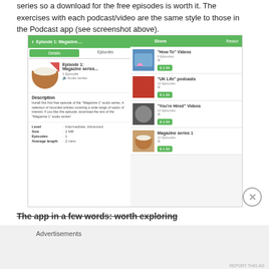series so a download for the free episodes is worth it. The exercises with each podcast/video are the same style to those in the Podcast app (see screenshot above).
[Figure (screenshot): Screenshot of an English learning app showing two panels: left panel displays Episode 1: Magazine series detail page with description, level (Intermediate, Advanced), size (2 MB), episodes (1), average length (2 mins); right panel shows the Store with items: 'How To' Videos (9 Episodes, $2.99), 'UK Life' podcasts (10 Episodes, $1.99), 'You're Hired' Videos (10 Episodes, $2.99), Magazine series 1 (10 Episodes, $1.99)]
The app in a few words: worth exploring
Advertisements